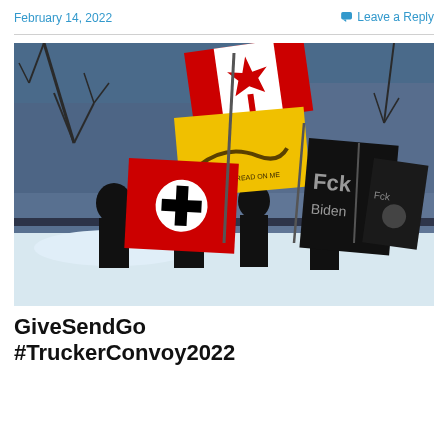February 14, 2022
Leave a Reply
[Figure (photo): Outdoor protest scene in winter showing people holding multiple flags including a Canadian flag, a yellow Gadsden flag, a red flag with a swastika symbol, and black flags with partially visible text. Bare trees and a building are visible in the background with snow on the ground.]
GiveSendGo #TruckerConvoy2022